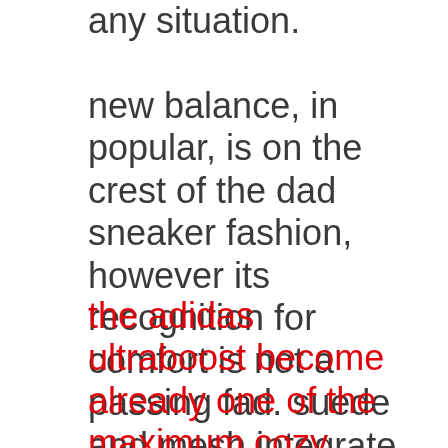any situation.
new balance, in popular, is on the crest of the dad sneaker fashion, however its recognition for comfort is not a passing fad. suede and mesh integrate for final softness while nb's supercomp tech offers superior breathability.
the adidas ultraboost become already one of the maximum cozy shoes on the market whilst it first dropped in 2014. in 2019 the silhouette were given an replace, making it even greater secure. and, simply while we notion adidas wouldn't — no, couldn't go any similarly — the german sports clothing massive unveiled the ultraboost